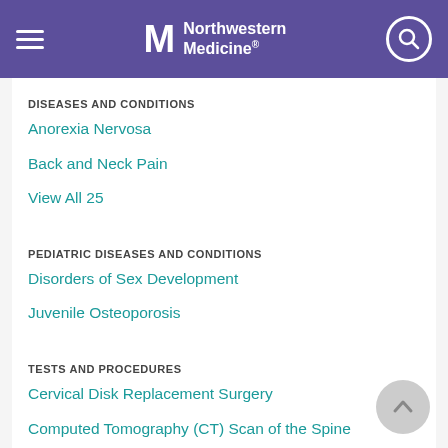Northwestern Medicine
DISEASES AND CONDITIONS
Anorexia Nervosa
Back and Neck Pain
View All 25
PEDIATRIC DISEASES AND CONDITIONS
Disorders of Sex Development
Juvenile Osteoporosis
TESTS AND PROCEDURES
Cervical Disk Replacement Surgery
Computed Tomography (CT) Scan of the Spine
View All 11